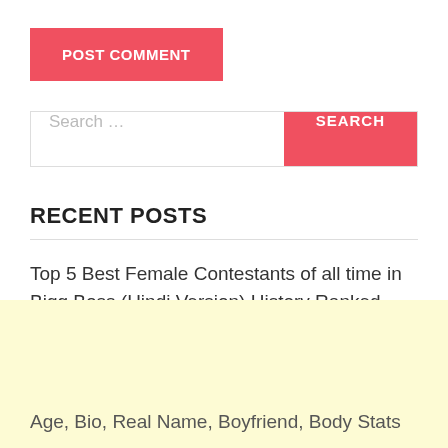POST COMMENT
Search …
RECENT POSTS
Top 5 Best Female Contestants of all time in Bigg Boss (Hindi Version) History Ranked with Reasons :
Esha Gupta Wedding Vows Magazine August 2022
Age, Bio, Real Name, Boyfriend, Body Stats